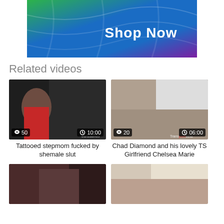[Figure (photo): Banner advertisement with colorful fabric background (green, blue, purple) and 'Shop Now' text]
Related videos
[Figure (photo): Video thumbnail - tattooed woman in red top, views: 50, duration: 10:00]
Tattooed stepmom fucked by shemale slut
[Figure (photo): Video thumbnail - two people, views: 20, duration: 06:00]
Chad Diamond and his lovely TS Girlfriend Chelsea Marie
[Figure (photo): Video thumbnail - bottom left, partial view]
[Figure (photo): Video thumbnail - bottom right, partial view]